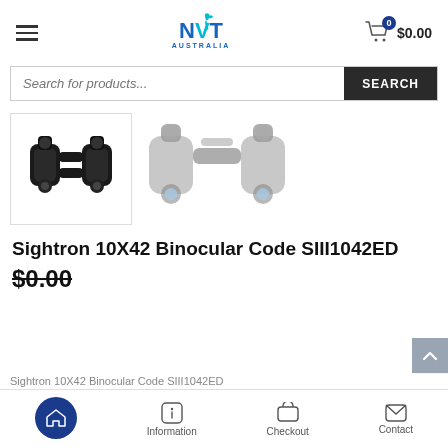NVT Australia — Cart: $0.00
Search for products...
[Figure (photo): Two product thumbnail images of Sightron 10X42 binoculars — one showing a black binocular, another showing a gray translucent render of binoculars]
Sightron 10X42 Binocular Code SIII1042ED
$0.00
Home | Information | Checkout | Contact